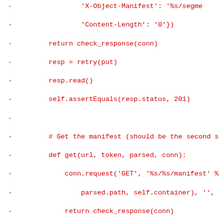[Figure (screenshot): Code diff showing removed lines (prefixed with '-') in red monospace font. Python test code for Swift/OpenStack manifest handling, including HTTP GET and POST requests, retry logic, and access control checks.]